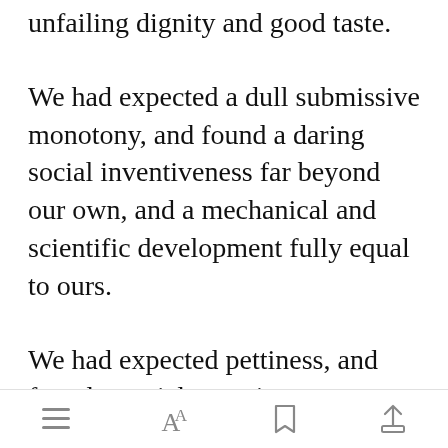unfailing dignity and good taste.
We had expected a dull submissive monotony, and found a daring social inventiveness far beyond our own, and a mechanical and scientific development fully equal to ours.
We had expected pettiness, and found a social consciousness besides which our nat[Open in app]ked like quarreling children—feebleminded